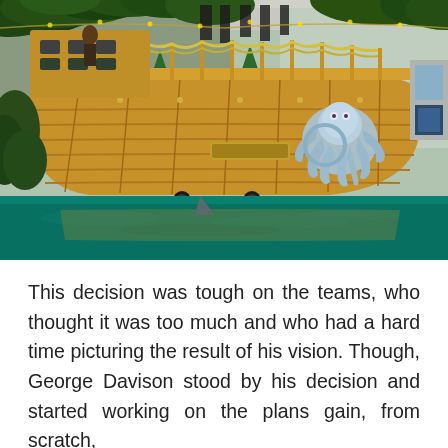[Figure (photo): Indoor pirate ship attraction with a large wooden ship hull, decorative ropes, a blue octopus sculpture on the right side, green foliage overhead, Christmas trees in the background, and a teal-colored water feature or pool in the foreground. The setting appears to be inside a shopping mall or entertainment venue.]
This decision was tough on the teams, who thought it was too much and who had a hard time picturing the result of his vision. Though, George Davison stood by his decision and started working on the plans gain, from scratch,